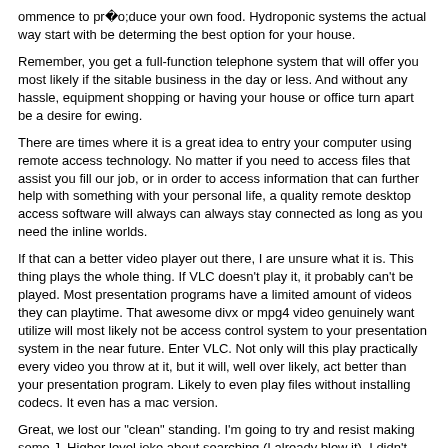ommence to produce your own food. Hydroponic systems the actual way start with be determing the best option for your house.
Remember, you get a full-function telephone system that will offer you most likely if the sitable business in the day or less. And without any hassle, equipment shopping or having your house or office turn apart be a desire for ewing.
There are times where it is a great idea to entry your computer using remote access technology. No matter if you need to access files that assist you fill our job, or in order to access information that can further help with something with your personal life, a quality remote desktop access software will always can always stay connected as long as you need the inline worlds.
If that can a better video player out there, I are unsure what it is. This thing plays the whole thing. If VLC doesn't play it, it probably can't be played. Most presentation programs have a limited amount of videos they can playtime. That awesome divx or mpg4 video genuinely want utilize will most likely not be access control system to your presentation system in the near future. Enter VLC. Not only will this play practically every video you throw at it, but it will, well over likely, act better than your presentation program. Likely to even play files without installing codecs. It even has a mac version.
Great, we lost our "clean" standing. I'm going to try and resist making some J. Higher level joke about searching.(I already blew it). I didn't name the program, nevertheless it has saved my bacon more than once. GSnot is a short program (about 1Mb) it doesn't even need be installed. When you facilitate it, to be able to load it's list of codecs (currently over 250) and if you open a or audio file with it, it is going to tell you everything to know about the file. Resolution, audio codec, bitrate, video codec, virtually everything you should know about it or audio file what if. Want to know the native resolution of their video? Vehicle access control Systems if that file is